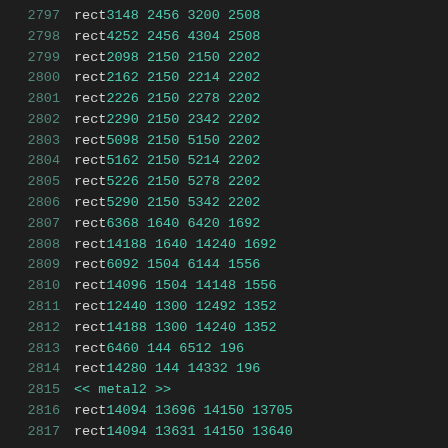2797    rect 3148 2456 3200 2508
2798    rect 4252 2456 4304 2508
2799    rect 2098 2150 2150 2202
2800    rect 2162 2150 2214 2202
2801    rect 2226 2150 2278 2202
2802    rect 2290 2150 2342 2202
2803    rect 5098 2150 5150 2202
2804    rect 5162 2150 5214 2202
2805    rect 5226 2150 5278 2202
2806    rect 5290 2150 5342 2202
2807    rect 6368 1640 6420 1692
2808    rect 14188 1640 14240 1692
2809    rect 6092 1504 6144 1556
2810    rect 14096 1504 14148 1556
2811    rect 12440 1300 12492 1352
2812    rect 14188 1300 14240 1352
2813    rect 6460 144 6512 196
2814    rect 14280 144 14332 196
2815    << metal2 >>
2816    rect 14094 13696 14150 13705
2817    rect 14094 13631 14150 13640